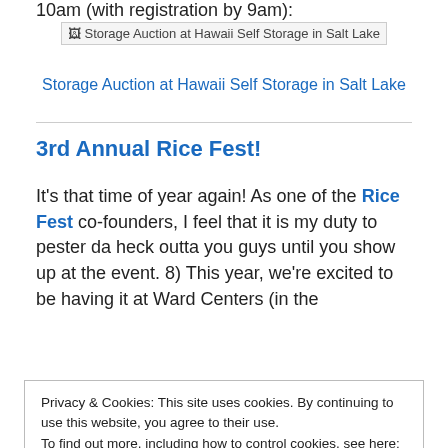10am (with registration by 9am):
[Figure (photo): Broken image placeholder with alt text: Storage Auction at Hawaii Self Storage in Salt Lake]
Storage Auction at Hawaii Self Storage in Salt Lake
3rd Annual Rice Fest!
It’s that time of year again! As one of the Rice Fest co-founders, I feel that it is my duty to pester da heck outta you guys until you show up at the event. 8) This year, we’re excited to be having it at Ward Centers (in the
Privacy & Cookies: This site uses cookies. By continuing to use this website, you agree to their use.
To find out more, including how to control cookies, see here: Cookie Policy
Close and accept
musubi… Again! Hope to see y’all there!